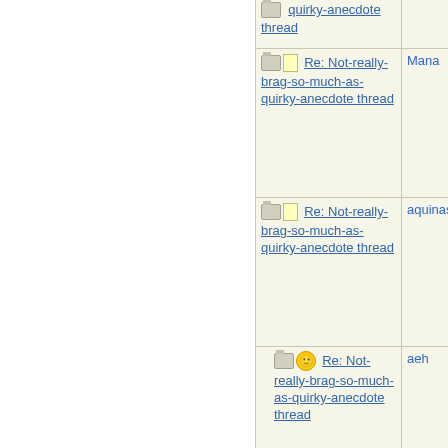| Subject | Author |
| --- | --- |
| Re: Not-really-brag-so-much-as-quirky-anecdote thread (top partial) |  |
| Re: Not-really-brag-so-much-as-quirky-anecdote thread | Mana |
| Re: Not-really-brag-so-much-as-quirky-anecdote thread | aquinas |
| Re: Not-really-brag-so-much-as-quirky-anecdote thread | aeh |
| Re: Not-really-brag-so-much-as-quirky-anecdote thread | Lovemyd |
| Re: Not-really-brag-so-much-as-quirky-anecdote thread | Lovemyd |
| Re: Not-really-brag-so-much-as-quirky-anecdote thread | aquinas |